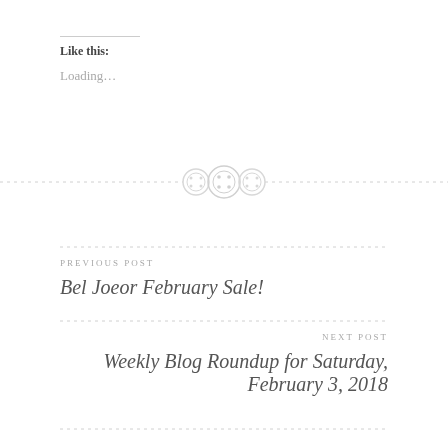Like this:
Loading…
[Figure (illustration): Decorative divider with three button icons centered between dashed lines]
PREVIOUS POST
Bel Joeor February Sale!
NEXT POST
Weekly Blog Roundup for Saturday, February 3, 2018